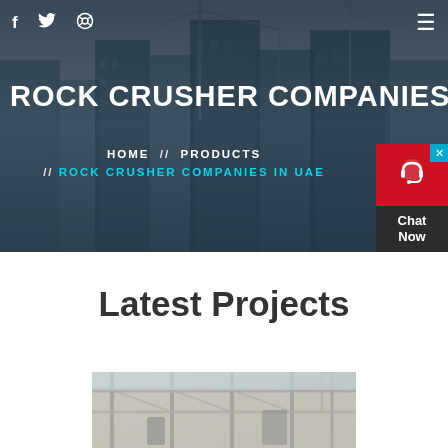[Figure (screenshot): Hero banner with dark overlay over construction site background showing cranes and buildings]
f     🐦     ⊙  ☰
ROCK CRUSHER COMPANIES IN
HOME // PRODUCTS // ROCK CRUSHER COMPANIES IN UAE
[Figure (infographic): Chat Now widget with red background, headset icon, and dark footer]
Latest Projects
[Figure (photo): Construction site photo showing industrial structure with scaffolding and cranes]